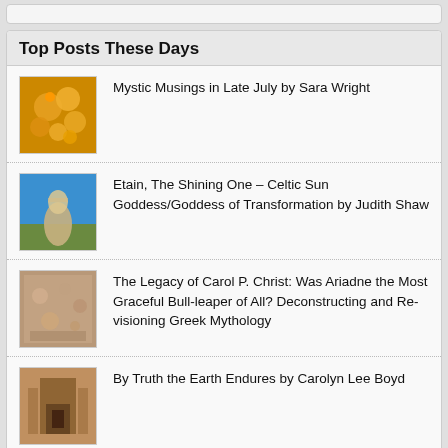Top Posts These Days
Mystic Musings in Late July by Sara Wright
Etain, The Shining One – Celtic Sun Goddess/Goddess of Transformation by Judith Shaw
The Legacy of Carol P. Christ: Was Ariadne the Most Graceful Bull-leaper of All? Deconstructing and Re-visioning Greek Mythology
By Truth the Earth Endures by Carolyn Lee Boyd
The “Curse of Eve”—Is Pain Our Punishment? Part I